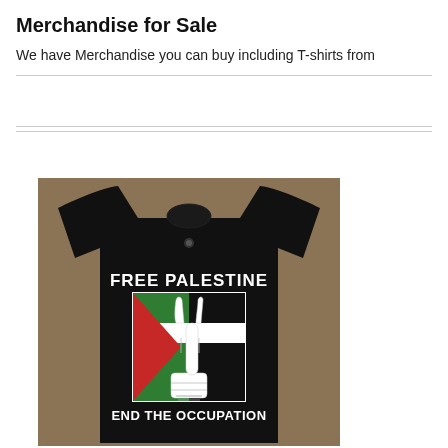Merchandise for Sale
We have Merchandise you can buy including T-shirts from
[Figure (photo): A black T-shirt with 'FREE PALESTINE' text above a graphic of a peace/victory hand sign in front of a Palestinian flag (green, white, red/black), and 'END THE OCCUPATION' text below.]